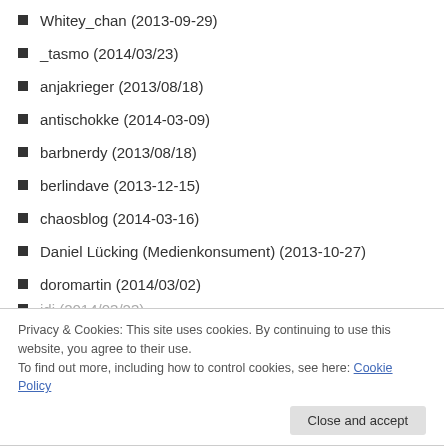Whitey_chan (2013-09-29)
_tasmo (2014/03/23)
anjakrieger (2013/08/18)
antischokke (2014-03-09)
barbnerdy (2013/08/18)
berlindave (2013-12-15)
chaosblog (2014-03-16)
Daniel Lücking (Medienkonsument) (2013-10-27)
doromartin (2014/03/02)
(2014/03/23) [partial]
Privacy & Cookies: This site uses cookies. By continuing to use this website, you agree to their use.
To find out more, including how to control cookies, see here: Cookie Policy
jantheofel (2014/03/23)